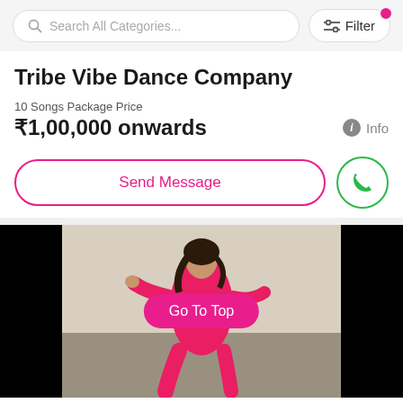[Figure (screenshot): Search bar with placeholder 'Search All Categories...' and a Filter button with a red notification dot]
Tribe Vibe Dance Company
10 Songs Package Price
₹1,00,000 onwards
Info
Send Message
[Figure (photo): A woman in a pink/red outfit dancing outdoors, with a 'Go To Top' button overlay]
Go To Top